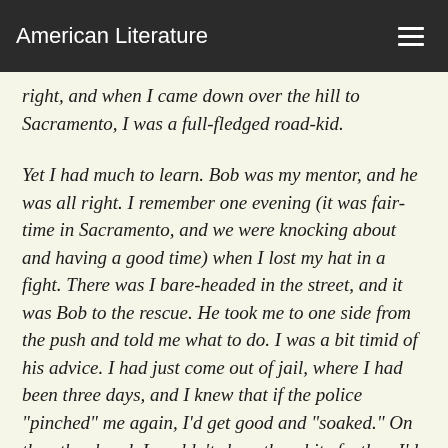American Literature
right, and when I came down over the hill to Sacramento, I was a full-fledged road-kid.
Yet I had much to learn. Bob was my mentor, and he was all right. I remember one evening (it was fair-time in Sacramento, and we were knocking about and having a good time) when I lost my hat in a fight. There was I bare-headed in the street, and it was Bob to the rescue. He took me to one side from the push and told me what to do. I was a bit timid of his advice. I had just come out of jail, where I had been three days, and I knew that if the police "pinched" me again, I'd get good and "soaked." On the other hand, I couldn't show the white feather. I'd been over the hill. I was running full-fledged with the